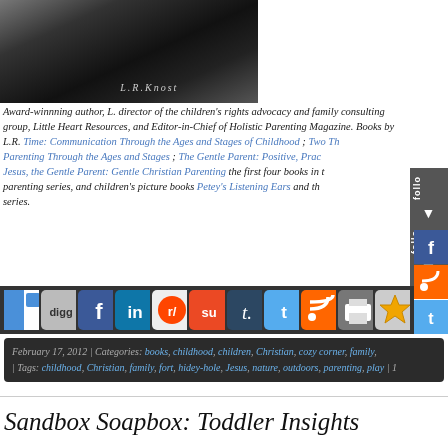[Figure (photo): Dark portrait photo with L.R.Knost watermark text]
Award-winnning author, L. R. Knost, director of the children's rights advocacy and family consulting group, Little Hearts/Gentle Parenting Resources, and Editor-in-Chief of Holistic Parenting Magazine. Books by L.R. include: Two Thousand Kisses a Day: Gentle Parenting Through the Ages and Stages of Childhood; The Gentle Parent: Positive, Practical, Effective Discipline; and Jesus, the Gentle Parent: Gentle Christian Parenting the first four books in the Little Hearts Handbook gentle parenting series, and children's picture books Petey's Listening Ears and the soon-to-be-released Archie's Unbeatable Bravery.
[Figure (infographic): Row of social sharing icon buttons: delicious, digg, facebook, linkedin, reddit, stumbleupon, tumblr, twitter, rss, print, favorites, and more]
February 17, 2012 | Categories: books, childhood, children, Christian, cozy corner, family, | Tags: childhood, Christian, family, fort, hidey-hole, Jesus, nature, outdoors, parenting, play | 1
Sandbox Soapbox: Toddler Insights
[Portions reprinted from The Gentle Parent: Positive, Practical, Effective Discipline; Two Thousand Kisses a Day: Gentle Parenting Through the Ages and Stages of Childhood and Two Thousand Kisses a Day: Gentle Parenting Through the Ages and Stages also available on Amazon and ...